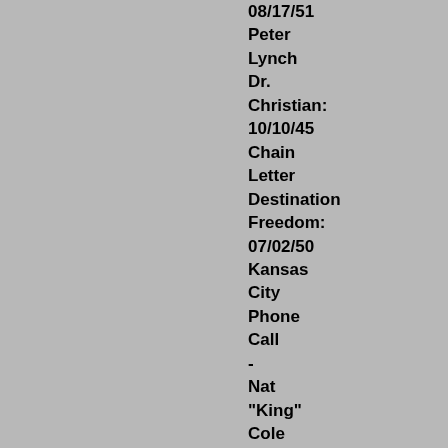08/17/51 Peter Lynch Dr. Christian: 10/10/45 Chain Letter Destination Freedom: 07/02/50 Kansas City Phone Call - Nat "King" Cole Dimension X: 08/02/51 #42 Universe Diary